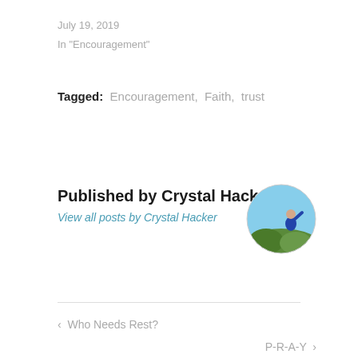July 19, 2019
In "Encouragement"
Tagged: Encouragement, Faith, trust
Published by Crystal Hacker
View all posts by Crystal Hacker
[Figure (photo): Circular avatar photo of Crystal Hacker, showing a person outdoors against a blue sky with green foliage]
< Who Needs Rest?
P-R-A-Y >